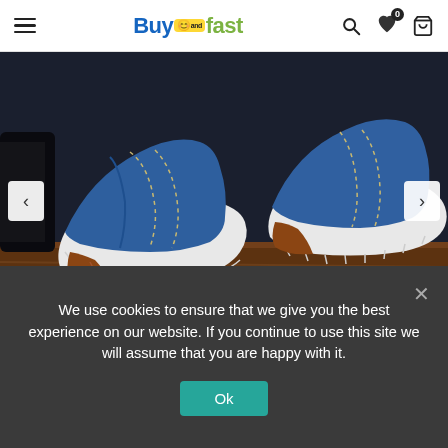BuyAndFast - navigation header with hamburger menu, logo, search, wishlist, and cart icons
[Figure (photo): Close-up photo of two blue canvas slip-on shoes with white soles and brown leather heel trim, placed on a wooden surface with dark background]
New Spring Summer Comfortable Canvas Men Casual
We use cookies to ensure that we give you the best experience on our website. If you continue to use this site we will assume that you are happy with it.